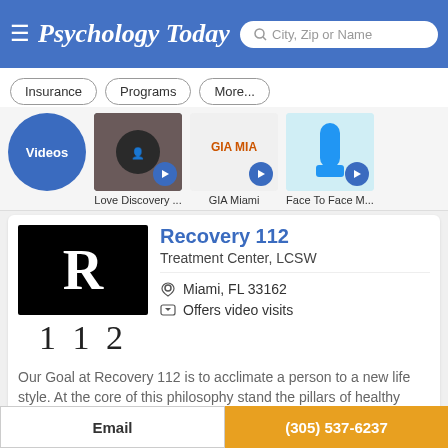Psychology Today — City, Zip or Name search
Insurance
Programs
More...
[Figure (screenshot): Video thumbnail strip showing Videos circle, Love Discovery..., GIA Miami, Face To Face M...]
Recovery 112
Treatment Center, LCSW
Miami, FL 33162
Offers video visits
Our Goal at Recovery 112 is to acclimate a person to a new life style. At the core of this philosophy stand the pillars of healthy habits, personal development and career goals. Each person is
Email
(305) 537-6237